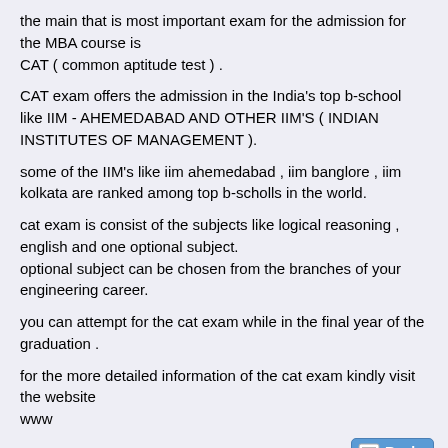the main that is most important exam for the admission for the MBA course is
CAT ( common aptitude test ) .
CAT exam offers the admission in the India's top b-school like IIM - AHEMEDABAD AND OTHER IIM'S ( INDIAN INSTITUTES OF MANAGEMENT ).
some of the IIM's like iim ahemedabad , iim banglore , iim kolkata are ranked among top b-scholls in the world.
cat exam is consist of the subjects like logical reasoning , english and one optional subject.
optional subject can be chosen from the branches of your engineering career.
you can attempt for the cat exam while in the final year of the graduation .
for the more detailed information of the cat exam kindly visit the website
www
11th September 2011,  12:53 AM   #5
vishal jaybhaye
Senior Member+
Join Date: Jun 2011
Location: nagpur
Posts: 725